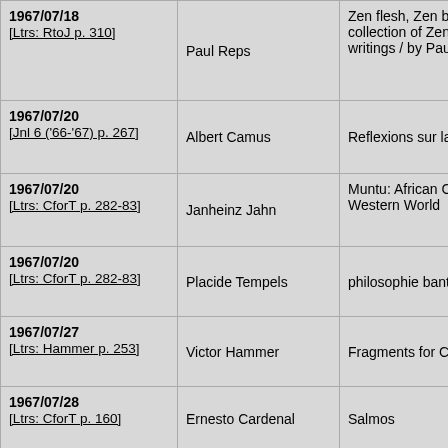| Date/Reference | Author | Title |
| --- | --- | --- |
| 1967/07/18
[Ltrs: RtoJ p. 310] | Paul Reps | Zen flesh, Zen bo collection of Zen a writings / by Paul |
| 1967/07/20
[Jnl 6 ('66-'67) p. 267] | Albert Camus | Reflexions sur la g |
| 1967/07/20
[Ltrs: CforT p. 282-83] | Janheinz Jahn | Muntu: African Cu Western World |
| 1967/07/20
[Ltrs: CforT p. 282-83] | Placide Tempels | philosophie banto |
| 1967/07/27
[Ltrs: Hammer p. 253] | Victor Hammer | Fragments for C.F |
| 1967/07/28
[Ltrs: CforT p. 160] | Ernesto Cardenal | Salmos |
| 1967/08/02
[Jnl 6 ('66-'67) p. 272] | Hanshan | Surangama Sutra ( Ching) / Chinese m by Master Parami Central North Indi Chih Monastery, C China, A. D. 705 ; commentary (abri Thin Mo... |